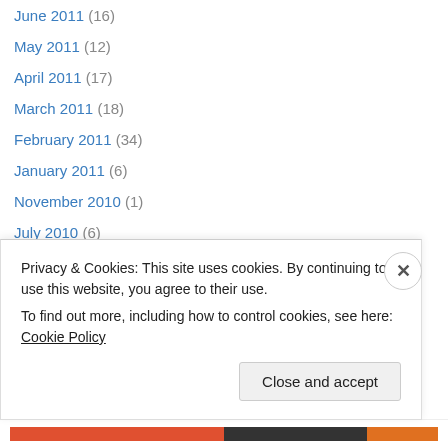June 2011 (16)
May 2011 (12)
April 2011 (17)
March 2011 (18)
February 2011 (34)
January 2011 (6)
November 2010 (1)
July 2010 (6)
June 2010 (5)
May 2010 (13)
April 2010 (19)
March 2010 (14)
February 2010 (23)
Privacy & Cookies: This site uses cookies. By continuing to use this website, you agree to their use. To find out more, including how to control cookies, see here: Cookie Policy